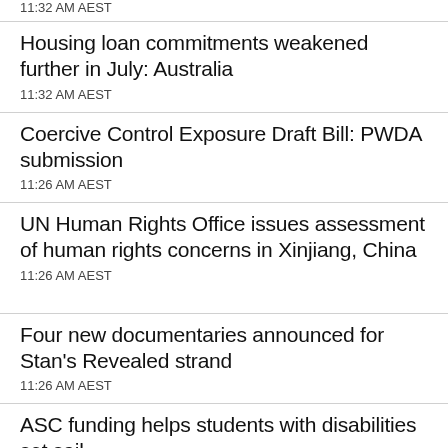11:32 AM AEST
Housing loan commitments weakened further in July: Australia
11:32 AM AEST
Coercive Control Exposure Draft Bill: PWDA submission
11:26 AM AEST
UN Human Rights Office issues assessment of human rights concerns in Xinjiang, China
11:26 AM AEST
Four new documentaries announced for Stan's Revealed strand
11:26 AM AEST
ASC funding helps students with disabilities set sail
11:26 AM AEST